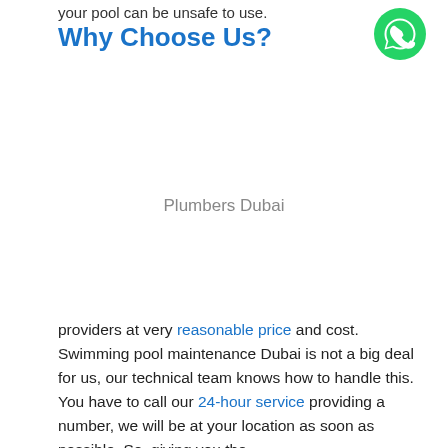your pool can be unsafe to use.
Why Choose Us?
[Figure (logo): WhatsApp green circle icon in top right corner]
Plumbers Dubai
providers at very reasonable price and cost. Swimming pool maintenance Dubai is not a big deal for us, our technical team knows how to handle this. You have to call our 24-hour service providing a number, we will be at your location as soon as possible. So, giving you the